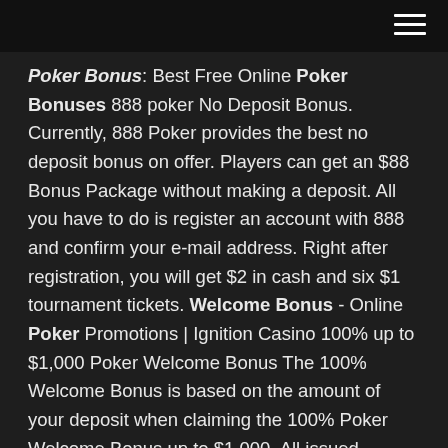≡
Poker Bonus: Best Free Online Poker Bonuses 888 poker No Deposit Bonus. Currently, 888 Poker provides the best no deposit bonus on offer. Players can get an $88 Bonus Package without making a deposit. All you have to do is register an account with 888 and confirm your e-mail address. Right after registration, you will get $2 in cash and six $1 tournament tickets. Welcome Bonus - Online Poker Promotions | Ignition Casino 100% up to $1,000 Poker Welcome Bonus The 100% Welcome Bonus is based on the amount of your deposit when claiming the 100% Poker Welcome Bonus up to $1,000. All issued bonuses are based on the Ignition Miles you earn in Poker within 30 days of your qualifying deposit. No deposit bonus: $5 & Sign-up bonus: $800 | #1 Online Casino Free $5 for signing up. Sign